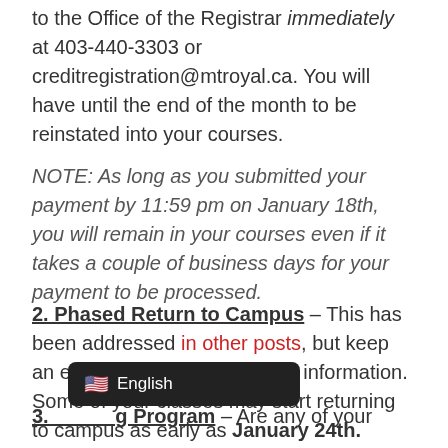to the Office of the Registrar immediately at 403-440-3303 or creditregistration@mtroyal.ca. You will have until the end of the month to be reinstated into your courses.
NOTE: As long as you submitted your payment by 11:59 pm on January 18th, you will remain in your courses even if it takes a couple of business days for your payment to be processed.
2. Phased Return to Campus – This has been addressed in other posts, but keep an eye on your email for more information. Some of your classes may start returning to campus as early as January 24th.
3. [Bridging Program] – Are any of your [classes...]